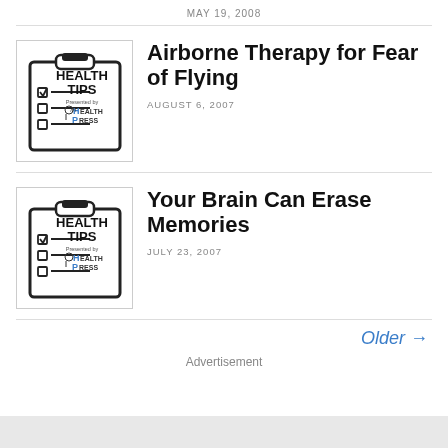MAY 19, 2008
[Figure (logo): Health Tips clipboard logo presented by Doctors Health Press]
Airborne Therapy for Fear of Flying
AUGUST 6, 2007
[Figure (logo): Health Tips clipboard logo presented by Doctors Health Press]
Your Brain Can Erase Memories
JULY 23, 2007
Older →
Advertisement